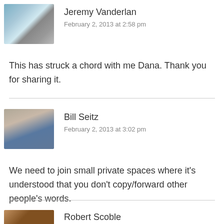[Figure (photo): Avatar photo of Jeremy Vanderlan showing snowy mountain/satellite dishes scene]
Jeremy Vanderlan
February 2, 2013 at 2:58 pm
This has struck a chord with me Dana. Thank you for sharing it.
[Figure (photo): Avatar photo of Bill Seitz showing a man with glasses]
Bill Seitz
February 2, 2013 at 3:02 pm
We need to join small private spaces where it's understood that you don't copy/forward other people's words.
[Figure (photo): Avatar photo of Robert Scoble]
Robert Scoble